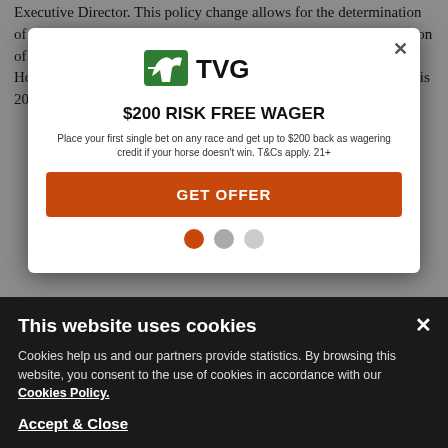Executive Director. This policy change allows for the determination of whether the policy change or import signal invokes the jurisdiction of the Horse Racing Integrity and Safety Authority (HISA). The Horse Racing Integrity and Safety Act of 2020, effective ordinarily is 2022.
Additionally, once the Texas Racing Commission regulates all aspects of Texas horse racing, including, in particular, pari-mutuel and simulcast wagering in Texas, the application of federal law pursuant to HISA in any aspect of horse racing regulation for a particular race or meet will necessarily preclude the Texas Racing Commission from full compliance with the Texas Racing
[Figure (screenshot): TVG promotional modal overlay: TVG logo with green horse icon, headline '$200 RISK FREE WAGER', subtext about first single bet offer, orange GET OFFER button, navigation dots (orange, gray, gray)]
[Figure (screenshot): Cookie consent banner (dark background): 'This website uses cookies' title, explanation text about cookies and partners providing statistics, link to Cookies Policy, and 'Accept & Close' button link]